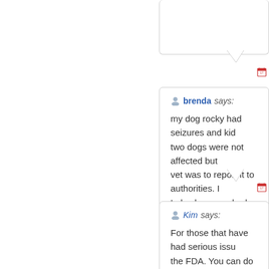[Figure (screenshot): Partial top comment bubble, cropped at top]
brenda says: my dog rocky had seizures and kid... two dogs were not affected but vet was to report it to authorities. I Lab who never had a reaction in his
Kim says: For those that have had serious issu... the FDA. You can do this at